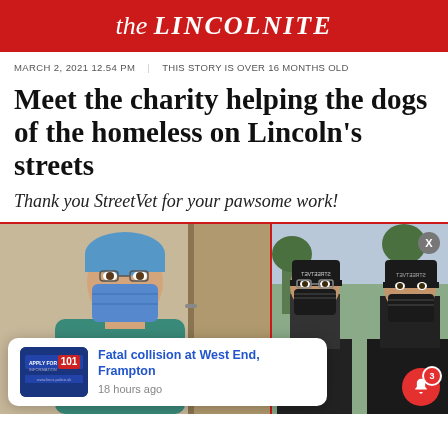the LINCOLNITE
MARCH 2, 2021 12.54 PM    THIS STORY IS OVER 16 MONTHS OLD
Meet the charity helping the dogs of the homeless on Lincoln's streets
Thank you StreetVet for your pawsome work!
[Figure (photo): Two-panel photo: left panel shows a person wearing a blue surgical mask and teal scrubs or top indoors; right panel shows two people outdoors wearing StreetVet branded hats and face masks]
Fatal collision at West End, Frampton
18 hours ago